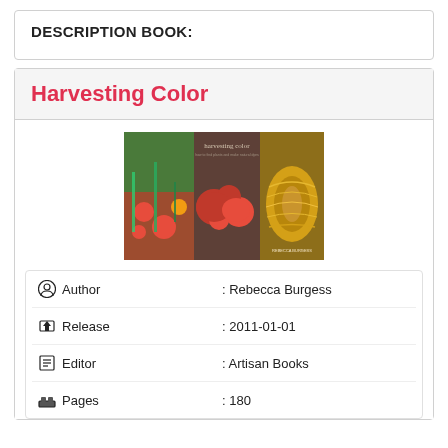DESCRIPTION BOOK:
Harvesting Color
[Figure (photo): Book cover of 'Harvesting Color' showing flowers and a skein of golden yarn]
| Author | : Rebecca Burgess |
| Release | : 2011-01-01 |
| Editor | : Artisan Books |
| Pages | : 180 |